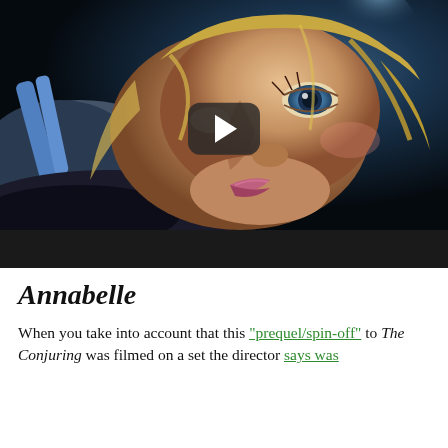[Figure (screenshot): A video thumbnail showing a blonde woman lying down with blue eyes looking upward, with a play button overlay. The image has a dark bar at the bottom typical of a video player interface.]
Annabelle
When you take into account that this "prequel/spin-off" to The Conjuring was filmed on a set the director says was